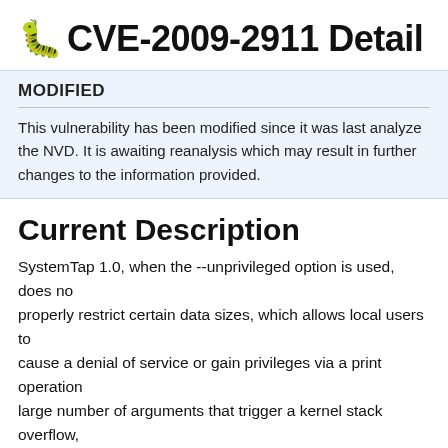CVE-2009-2911 Detail
MODIFIED
This vulnerability has been modified since it was last analyzed by the NVD. It is awaiting reanalysis which may result in further changes to the information provided.
Current Description
SystemTap 1.0, when the --unprivileged option is used, does not properly restrict certain data sizes, which allows local users to cause a denial of service or gain privileges via a print operation with a large number of arguments that trigger a kernel stack overflow, (2) cause a denial of service via crafted DWARF expressions that trigger a kernel stack frame overflow, or (3) cause a denial of service (infinite loop) via vectors that trigger creation of large unwind tables.